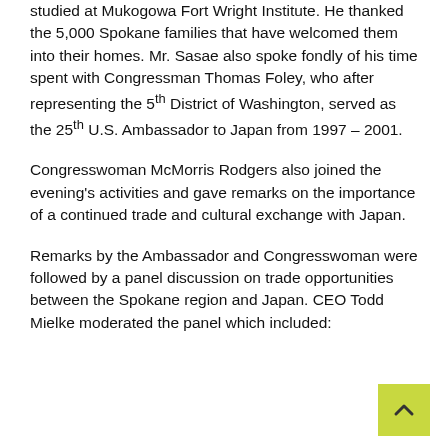studied at Mukogowa Fort Wright Institute. He thanked the 5,000 Spokane families that have welcomed them into their homes. Mr. Sasae also spoke fondly of his time spent with Congressman Thomas Foley, who after representing the 5th District of Washington, served as the 25th U.S. Ambassador to Japan from 1997 – 2001.
Congresswoman McMorris Rodgers also joined the evening's activities and gave remarks on the importance of a continued trade and cultural exchange with Japan.
Remarks by the Ambassador and Congresswoman were followed by a panel discussion on trade opportunities between the Spokane region and Japan. CEO Todd Mielke moderated the panel which included: